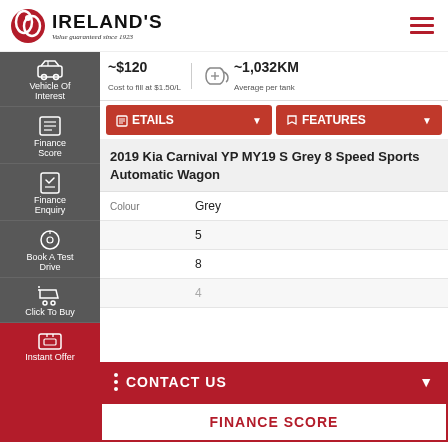[Figure (logo): Ireland's logo with red circular icon and text 'IRELAND'S Value guaranteed since 1923']
~$120 Cost to fill at $1.50/L
~1,032KM Average per tank
DETAILS
FEATURES
2019 Kia Carnival YP MY19 S Grey 8 Speed Sports Automatic Wagon
Colour: Grey
5
8
4
CONTACT US
FINANCE SCORE
Vehicle Of Interest
Finance Score
Finance Enquiry
Book A Test Drive
Click To Buy
Instant Offer